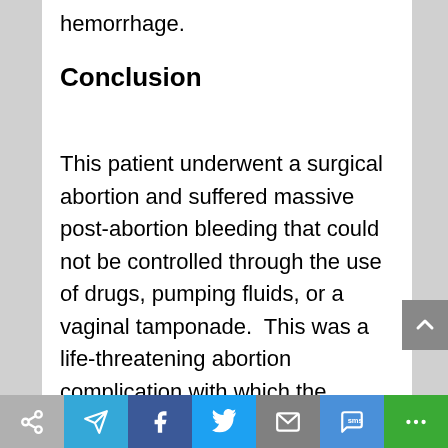hemorrhage.
Conclusion
This patient underwent a surgical abortion and suffered massive post-abortion bleeding that could not be controlled through the use of drugs, pumping fluids, or a vaginal tamponade.  This was a life-threatening abortion complication with which the abortion facility was